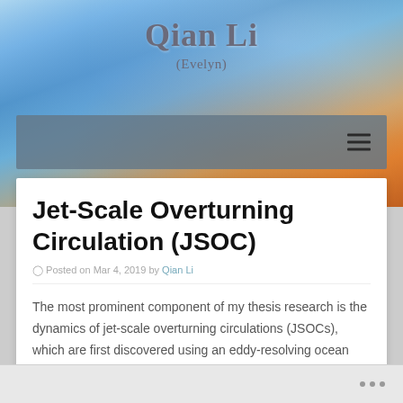[Figure (illustration): Blue and orange swirling flame/smoke background image for website header]
Qian Li
(Evelyn)
[Figure (screenshot): Navigation bar with hamburger menu icon on gray-blue background]
Jet-Scale Overturning Circulation (JSOC)
Posted on Mar 4, 2019 by Qian Li
The most prominent component of my thesis research is the dynamics of jet-scale overturning circulations (JSOCs), which are first discovered using an eddy-resolving ocean model and